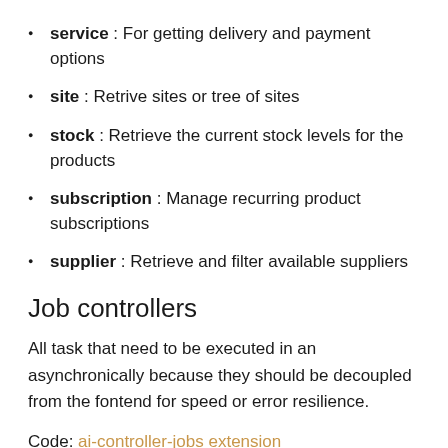service : For getting delivery and payment options
site : Retrive sites or tree of sites
stock : Retrieve the current stock levels for the products
subscription : Manage recurring product subscriptions
supplier : Retrieve and filter available suppliers
Job controllers
All task that need to be executed in an asynchronically because they should be decoupled from the fontend for speed or error resilience.
Code: ai-controller-jobs extension
Jobs care about: